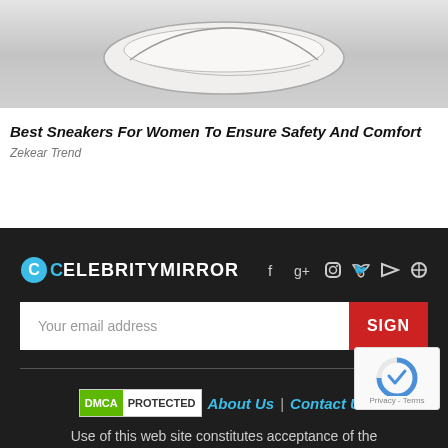[Figure (photo): Partial photo of women's sneakers on a grey background, cropped at top]
Best Sneakers For Women To Ensure Safety And Comfort
Zekear Trend
[Figure (logo): eCelebrityMirror logo with social media icons: Facebook, Google+, Instagram, Twitter, YouTube, Pinterest]
Your email address
SIGN
DMCA PROTECTED   About Us | Contact Us
Use of this web site constitutes acceptance of the